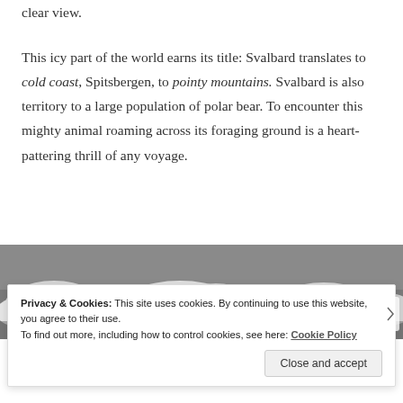clear view.
This icy part of the world earns its title: Svalbard translates to cold coast, Spitsbergen, to pointy mountains. Svalbard is also territory to a large population of polar bear. To encounter this mighty animal roaming across its foraging ground is a heart-pattering thrill of any voyage.
[Figure (photo): Grayscale photograph of ice and snow formations, likely sea ice or glacial ice in an arctic environment.]
Privacy & Cookies: This site uses cookies. By continuing to use this website, you agree to their use.
To find out more, including how to control cookies, see here: Cookie Policy